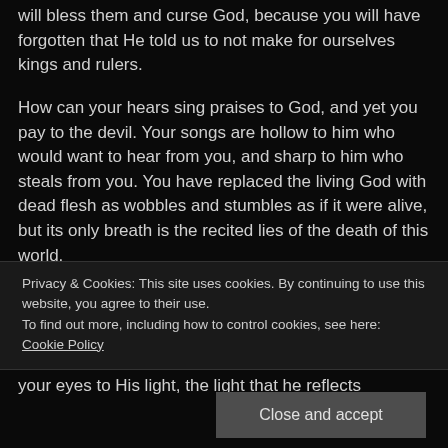will bless them and curse God, because you will have forgotten that He told us to not make for ourselves kings and rulers.
How can your hears sing praises to God, and yet you pay to the devil. Your songs are hollow to him who would want to hear from you, and sharp to him who steals from you. You have replaced the living God with dead flesh as wobbles and stumbles as if it were alive, but its only breath is the recited lies of the death of this world.
Oh how silly you have become to seek death, and
Privacy & Cookies: This site uses cookies. By continuing to use this website, you agree to their use.
To find out more, including how to control cookies, see here: Cookie Policy
Close and accept
your eyes to His light, the light that he reflects